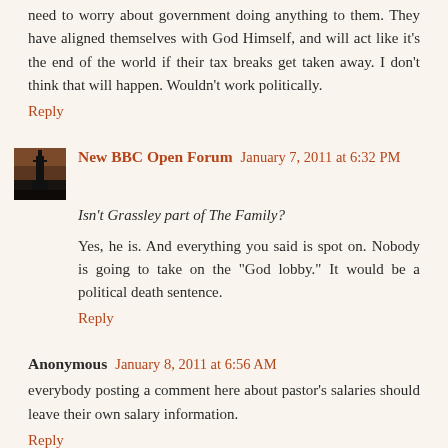need to worry about government doing anything to them. They have aligned themselves with God Himself, and will act like it's the end of the world if their tax breaks get taken away. I don't think that will happen. Wouldn't work politically.
Reply
New BBC Open Forum  January 7, 2011 at 6:32 PM
Isn't Grassley part of The Family?
Yes, he is. And everything you said is spot on. Nobody is going to take on the "God lobby." It would be a political death sentence.
Reply
Anonymous  January 8, 2011 at 6:56 AM
everybody posting a comment here about pastor's salaries should leave their own salary information.
Reply